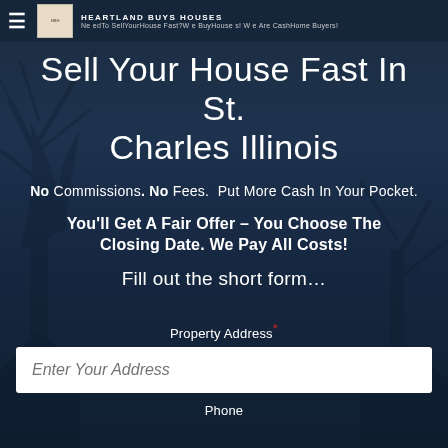HEARTLAND BUYS HOUSES — Need To Sell Your House Fast? We Buy Houses! We Are Cash Home Buyers!
Sell Your House Fast In St. Charles Illinois
No Commissions. No Fees. Put More Cash In Your Pocket.
You'll Get A Fair Offer – You Choose The Closing Date. We Pay All Costs!
Fill out the short form…
Property Address *
Enter Your Address
Phone